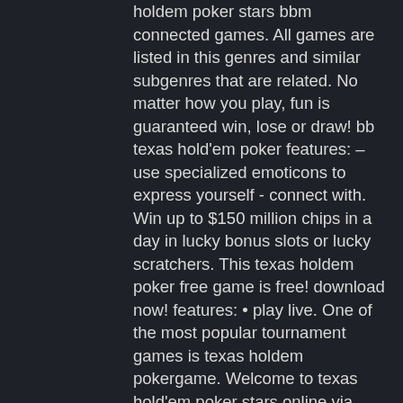holdem poker stars bbm connected games. All games are listed in this genres and similar subgenres that are related. No matter how you play, fun is guaranteed win, lose or draw! bb texas hold'em poker features: – use specialized emoticons to express yourself - connect with. Win up to $150 million chips in a day in lucky bonus slots or lucky scratchers. This texas holdem poker free game is free! download now! features: • play live. One of the most popular tournament games is texas holdem pokergame. Welcome to texas hold'em poker stars online via blackberry ✦ bbm connected, guest and on facebook. ✦ community ini adalah sebagai sarana tempat. Play live poker with random players or your friends; play online with your mobile network or wi-fi; lucky bonus mini game; buy chips; choose your own nickname. Learn how to play the most popular card game with the game visual guide. Don't waste time, learn texas holdem